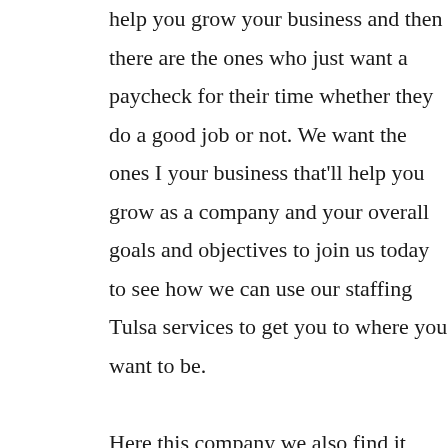help you grow your business and then there are the ones who just want a paycheck for their time whether they do a good job or not. We want the ones I your business that'll help you grow as a company and your overall goals and objectives to join us today to see how we can use our staffing Tulsa services to get you to where you want to be.

Here this company we also find it very important to help the children in our community. With every job ordered that we make a donation into the Oklahoma Baptist children's home. This is an organization committed to helping it feed and clothe the children of Oklahoma and their homes.